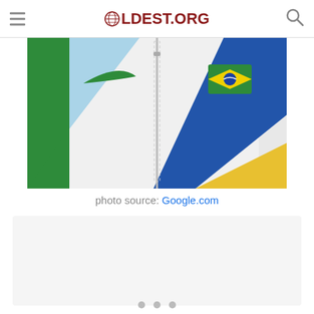OLDEST.ORG
[Figure (photo): Close-up of a white Nike athletic jacket with green, blue, and yellow geometric pattern and Brazilian flag patch on the chest, with a zipper in the center.]
photo source: Google.com
[Figure (photo): Slideshow placeholder area with navigation dots at the bottom]